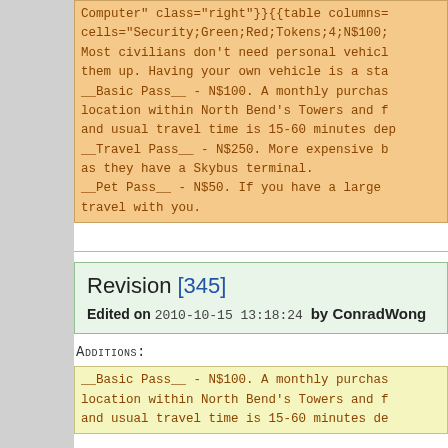Computer" class="right"}}{{table columns=...
cells="Security;Green;Red;Tokens;4;N$100;
Most civilians don't need personal vehicle...
them up. Having your own vehicle is a sta...
__Basic Pass__ - N$100. A monthly purcha...
location within North Bend's Towers and f...
and usual travel time is 15-60 minutes de...
__Travel Pass__ - N$250. More expensive b...
as they have a Skybus terminal.
__Pet Pass__ - N$50. If you have a large ...
travel with you.
Revision [345]
Edited on 2010-10-15 13:18:24 by ConradWong
Additions:
__Basic Pass__ - N$100. A monthly purcha...
location within North Bend's Towers and f...
and usual travel time is 15-60 minutes de...